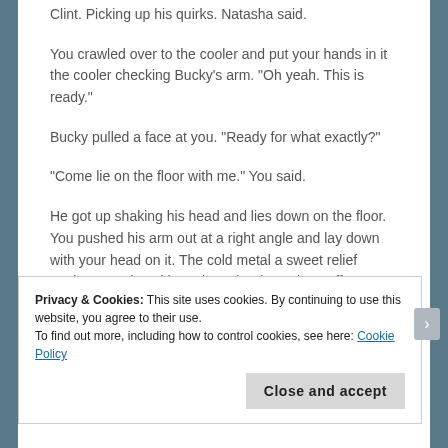Clint.  Picking up his quirks.  Natasha said.
You crawled over to the cooler and put your hands in it the cooler checking Bucky's arm.  "Oh yeah.  This is ready."
Bucky pulled a face at you.  "Ready for what exactly?"
"Come lie on the floor with me."  You said.
He got up shaking his head and lies down on the floor.  You pushed his arm out at a right angle and lay down with your head on it.  The cold metal a sweet relief against your hot skin.  "Oh yeah.  That's the stuff."
Privacy & Cookies: This site uses cookies. By continuing to use this website, you agree to their use.
To find out more, including how to control cookies, see here: Cookie Policy
Close and accept